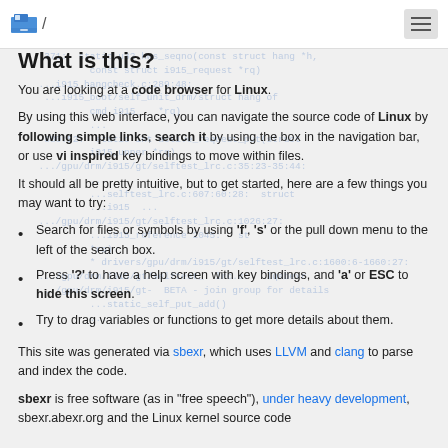/ (hamburger menu)
What is this?
You are looking at a code browser for Linux.
By using this web interface, you can navigate the source code of Linux by following simple links, search it by using the box in the navigation bar, or use vi inspired key bindings to move within files.
It should all be pretty intuitive, but to get started, here are a few things you may want to try:
Search for files or symbols by using 'f', 's' or the pull down menu to the left of the search box.
Press '?' to have a help screen with key bindings, and 'a' or ESC to hide this screen.
Try to drag variables or functions to get more details about them.
This site was generated via sbexr, which uses LLVM and clang to parse and index the code.
sbexr is free software (as in "free speech"), under heavy development, sbexr.abexr.org and the Linux kernel source code...